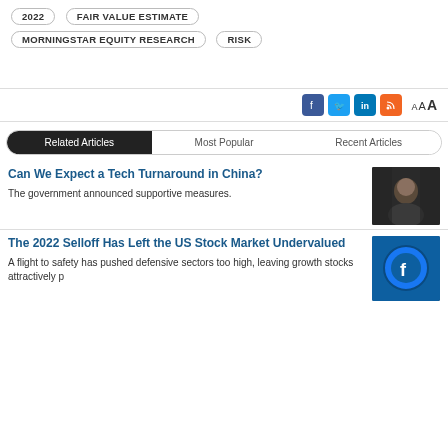2022
FAIR VALUE ESTIMATE
MORNINGSTAR EQUITY RESEARCH
RISK
AAA
Related Articles | Most Popular | Recent Articles
Can We Expect a Tech Turnaround in China?
The government announced supportive measures.
[Figure (photo): Photo of a smiling Asian man at what appears to be a stock exchange or event, dark background]
The 2022 Selloff Has Left the US Stock Market Undervalued
A flight to safety has pushed defensive sectors too high, leaving growth stocks attractively p
[Figure (photo): Photo of a Facebook logo on a blue circular icon on a device screen]